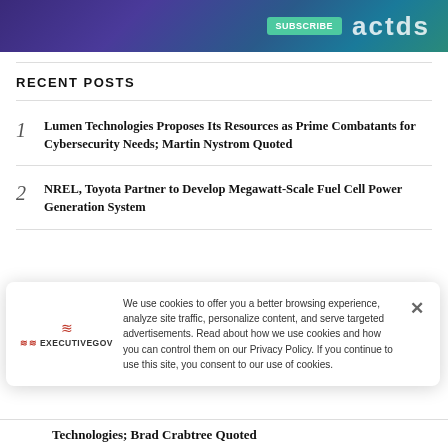[Figure (other): Website banner with gradient background (purple to teal) with partial text 'actds' visible and a green button]
RECENT POSTS
1 Lumen Technologies Proposes Its Resources as Prime Combatants for Cybersecurity Needs; Martin Nystrom Quoted
2 NREL, Toyota Partner to Develop Megawatt-Scale Fuel Cell Power Generation System
We use cookies to offer you a better browsing experience, analyze site traffic, personalize content, and serve targeted advertisements. Read about how we use cookies and how you can control them on our Privacy Policy. If you continue to use this site, you consent to our use of cookies.
Technologies; Brad Crabtree Quoted